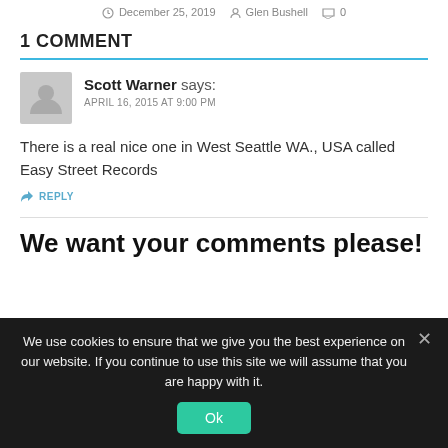December 25, 2019  Glen Bushell  0
1 COMMENT
Scott Warner says:
APRIL 16, 2015 AT 9:00 PM
There is a real nice one in West Seattle WA., USA called Easy Street Records
REPLY
We want your comments please!
We use cookies to ensure that we give you the best experience on our website. If you continue to use this site we will assume that you are happy with it.